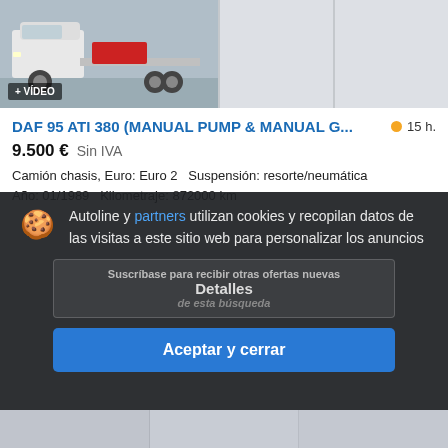[Figure (photo): Truck listing screenshot showing a DAF 95 ATI 380 chassis truck with + VÍDEO badge, two blank thumbnail boxes on the right]
DAF 95 ATI 380 (MANUAL PUMP & MANUAL G...  15 h.
9.500 €  Sin IVA
Camión chasis, Euro: Euro 2  Suspensión: resorte/neumática
Año: 01/1989  Kilometraje: 872000 km
Autoline y partners utilizan cookies y recopilan datos de las visitas a este sitio web para personalizar los anuncios
Detalles
Aceptar y cerrar